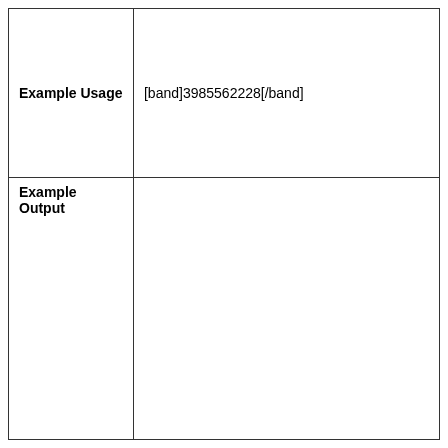| Example Usage | [band]3985562228[/band] |
| --- | --- |
| Example Output |  |